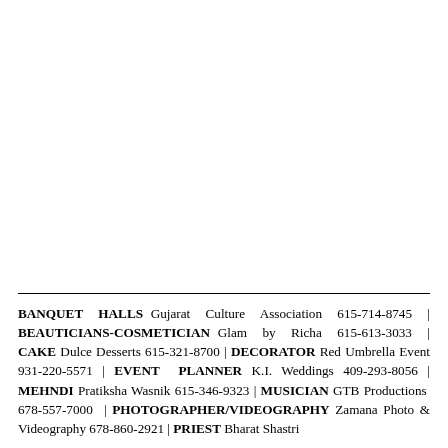BANQUET HALLS Gujarat Culture Association 615-714-8745 | BEAUTICIANS-COSMETICIAN Glam by Richa 615-613-3033 | CAKE Dulce Desserts 615-321-8700 | DECORATOR Red Umbrella Event 931-220-5571 | EVENT PLANNER K.I. Weddings 409-293-8056 | MEHNDI Pratiksha Wasnik 615-346-9323 | MUSICIAN GTB Productions 678-557-7000 | PHOTOGRAPHER/VIDEOGRAPHY Zamana Photo & Videography 678-860-2921 | PRIEST Bharat Shastri